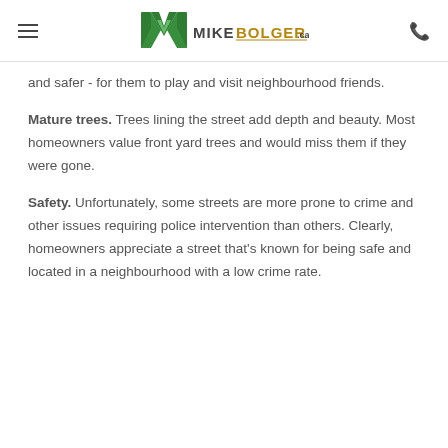MikeBolger.ca website header with logo and navigation
and safer - for them to play and visit neighbourhood friends.
Mature trees. Trees lining the street add depth and beauty. Most homeowners value front yard trees and would miss them if they were gone.
Safety. Unfortunately, some streets are more prone to crime and other issues requiring police intervention than others. Clearly, homeowners appreciate a street that's known for being safe and located in a neighbourhood with a low crime rate.